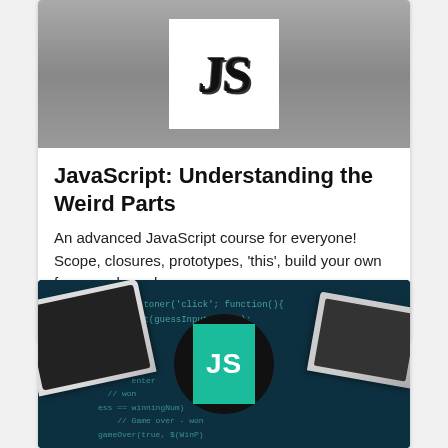[Figure (screenshot): JavaScript course card image with JS logo on grey background]
JavaScript: Understanding the Weird Parts
An advanced JavaScript course for everyone! Scope, closures, prototypes, 'this', build your own framework, and more.
4.7 ★★★★★ 175,762 students
[Figure (screenshot): Second JavaScript course card with teal background, code, laptops, and JS badge logo]